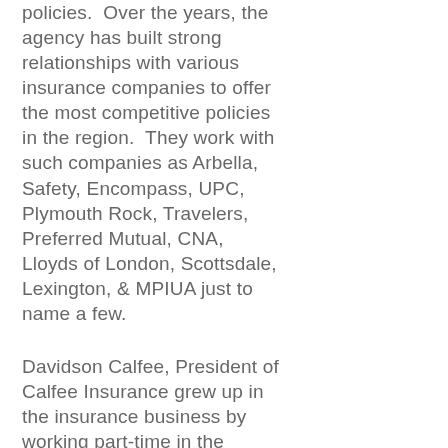policies.  Over the years, the agency has built strong relationships with various insurance companies to offer the most competitive policies in the region.  They work with such companies as Arbella, Safety, Encompass, UPC, Plymouth Rock, Travelers, Preferred Mutual, CNA, Lloyds of London, Scottsdale, Lexington, & MPIUA just to name a few.
Davidson Calfee, President of Calfee Insurance grew up in the insurance business by working part-time in the